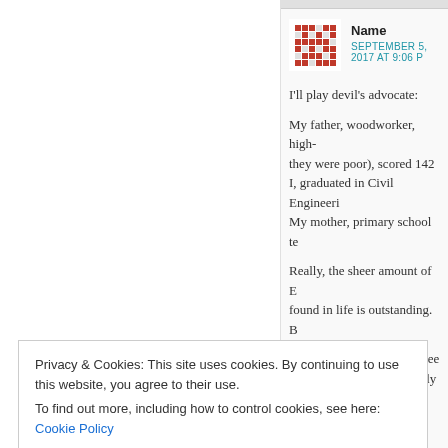[Figure (other): Red pixel/mosaic avatar icon for commenter]
Name
SEPTEMBER 5, 2017 AT 9:06 P
I'll play devil's advocate:
My father, woodworker, high-they were poor), scored 142
I, graduated in Civil Engineeri
My mother, primary school te
Really, the sheer amount of E found in life is outstanding. B
Also, what I happened to see meritocratic-system is apply
Privacy & Cookies: This site uses cookies. By continuing to use this website, you agree to their use.
To find out more, including how to control cookies, see here: Cookie Policy
Close and accept
selects for something", right